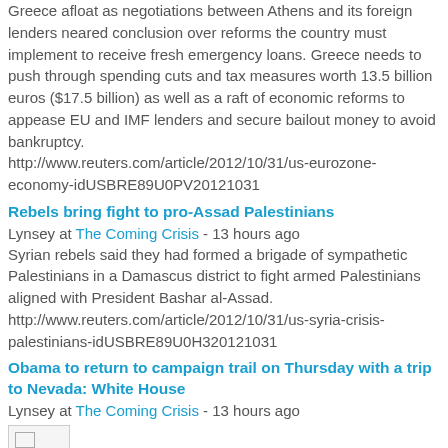Greece afloat as negotiations between Athens and its foreign lenders neared conclusion over reforms the country must implement to receive fresh emergency loans. Greece needs to push through spending cuts and tax measures worth 13.5 billion euros ($17.5 billion) as well as a raft of economic reforms to appease EU and IMF lenders and secure bailout money to avoid bankruptcy.
http://www.reuters.com/article/2012/10/31/us-eurozone-economy-idUSBRE89U0PV20121031
Rebels bring fight to pro-Assad Palestinians
Lynsey at The Coming Crisis - 13 hours ago
Syrian rebels said they had formed a brigade of sympathetic Palestinians in a Damascus district to fight armed Palestinians aligned with President Bashar al-Assad.
http://www.reuters.com/article/2012/10/31/us-syria-crisis-palestinians-idUSBRE89U0H320121031
Obama to return to campaign trail on Thursday with a trip to Nevada: White House
Lynsey at The Coming Crisis - 13 hours ago
[Figure (photo): Small image placeholder]
For years, scientists warned New York City of climate disaster